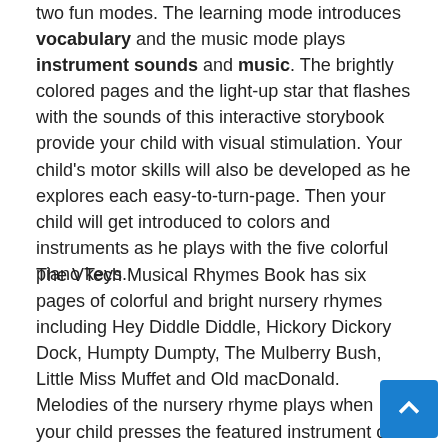two fun modes. The learning mode introduces vocabulary and the music mode plays instrument sounds and music. The brightly colored pages and the light-up star that flashes with the sounds of this interactive storybook provide your child with visual stimulation. Your child's motor skills will also be developed as he explores each easy-to-turn-page. Then your child will get introduced to colors and instruments as he plays with the five colorful piano keys.
The VTech Musical Rhymes Book has six pages of colorful and bright nursery rhymes including Hey Diddle Diddle, Hickory Dickory Dock, Humpty Dumpty, The Mulberry Bush, Little Miss Muffet and Old macDonald. Melodies of the nursery rhyme plays when your child presses the featured instrument on the page. The VTech Musical Rhymes Book's pages are made of durable plastic which are easy to wipe clean. The pages are non-rip so your child will definitely outgrow his VTech Musical Rhymes Book. The VTech Musical Rhymes Book is one of the best black Friday deals you will find online.